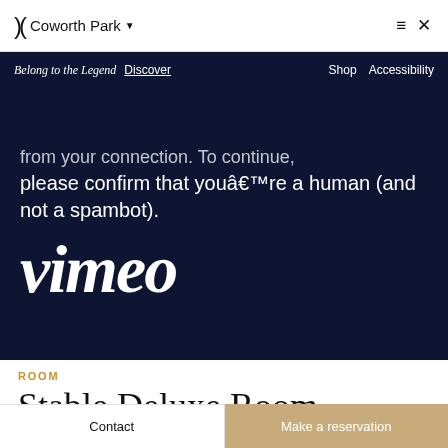Coworth Park — navigation bar with logo, hotel name, menu and close icons
Belong to the Legend  Discover  Shop  Accessibility
[Figure (screenshot): Dark navy Vimeo CAPTCHA screen with text: '...from your connection. To continue, please confirm that you're a human (and not a spambot).' and the Vimeo logo in large white italic script]
ROOM
Stable Deluxe Room
Contact
Make a reservation